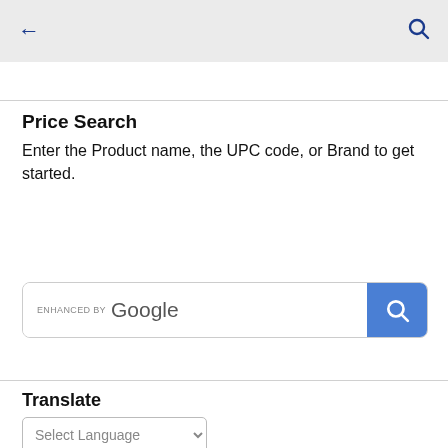← [back] [search icon]
Price Search
Enter the Product name, the UPC code, or Brand to get started.
[Figure (screenshot): Google custom search bar with 'ENHANCED BY Google' label and a blue search button with magnifying glass icon]
Translate
Select Language